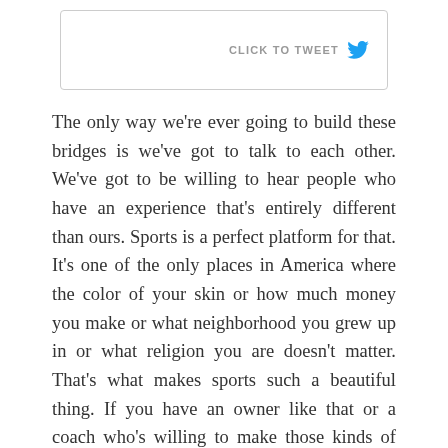[Figure (other): Click to Tweet button with Twitter bird icon inside a bordered box]
The only way we're ever going to build these bridges is we've got to talk to each other. We've got to be willing to hear people who have an experience that's entirely different than ours. Sports is a perfect platform for that. It's one of the only places in America where the color of your skin or how much money you make or what neighborhood you grew up in or what religion you are doesn't matter. That's what makes sports such a beautiful thing. If you have an owner like that or a coach who's willing to make those kinds of efforts to understand other